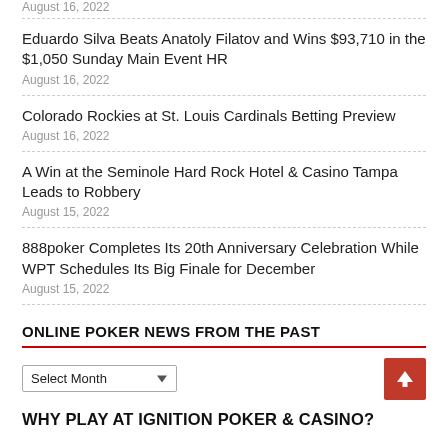August 16, 2022
Eduardo Silva Beats Anatoly Filatov and Wins $93,710 in the $1,050 Sunday Main Event HR
August 16, 2022
Colorado Rockies at St. Louis Cardinals Betting Preview
August 16, 2022
A Win at the Seminole Hard Rock Hotel & Casino Tampa Leads to Robbery
August 15, 2022
888poker Completes Its 20th Anniversary Celebration While WPT Schedules Its Big Finale for December
August 15, 2022
ONLINE POKER NEWS FROM THE PAST
Select Month
WHY PLAY AT IGNITION POKER & CASINO?